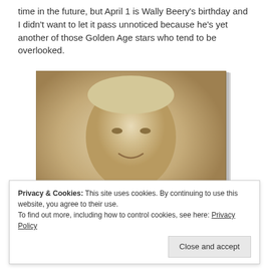time in the future, but April 1 is Wally Beery's birthday and I didn't want to let it pass unnoticed because he's yet another of those Golden Age stars who tend to be overlooked.
[Figure (photo): Sepia-toned vintage portrait photograph of a smiling middle-aged man with light hair, appearing to be a Hollywood Golden Age actor (Wallace Beery). The photo is slightly tilted and has a yellowish-brown tone typical of old photographs. There appears to be a handwritten inscription at the bottom of the photo.]
Privacy & Cookies: This site uses cookies. By continuing to use this website, you agree to their use.
To find out more, including how to control cookies, see here: Privacy Policy
Close and accept